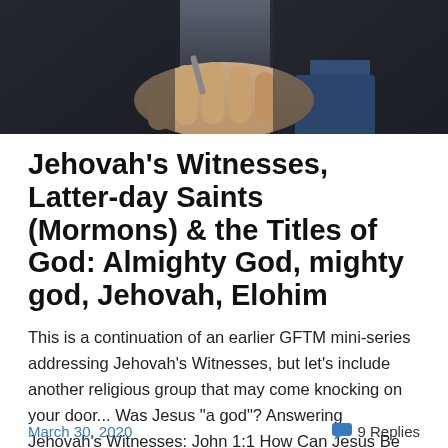[Figure (photo): Close-up photo of a person in a dark suit holding what appears to be a small object, with blue shirtsleeve visible]
Jehovah's Witnesses, Latter-day Saints (Mormons) & the Titles of God: Almighty God, mighty god, Jehovah, Elohim
This is a continuation of an earlier GFTM mini-series addressing Jehovah's Witnesses, but let's include another religious group that may come knocking on your door... Was Jesus "a god"? Answering Jehovah's Witnesses: John 1:1 How Can Jesus Be "Firstborn of All Creation" Yet Eternal God? … Continue reading →
March 30, 2020  💬 9 Replies